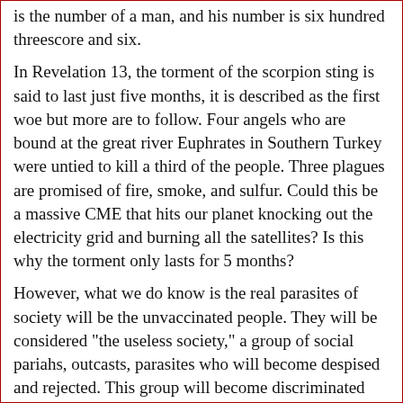is the number of a man, and his number is six hundred threescore and six.
In Revelation 13, the torment of the scorpion sting is said to last just five months, it is described as the first woe but more are to follow. Four angels who are bound at the great river Euphrates in Southern Turkey were untied to kill a third of the people. Three plagues are promised of fire, smoke, and sulfur. Could this be a massive CME that hits our planet knocking out the electricity grid and burning all the satellites? Is this why the torment only lasts for 5 months?
However, what we do know is the real parasites of society will be the unvaccinated people. They will be considered "the useless society," a group of social pariahs, outcasts, parasites who will become despised and rejected. This group will become discriminated against, bullied, and coerced into receiving the Covid vaccine and if they refuse, they will be thrown into camps. And before you think "there goes Gary, the conspiracy nut," think again, the camp idea is from Dr.Fauci and the CDC, full story